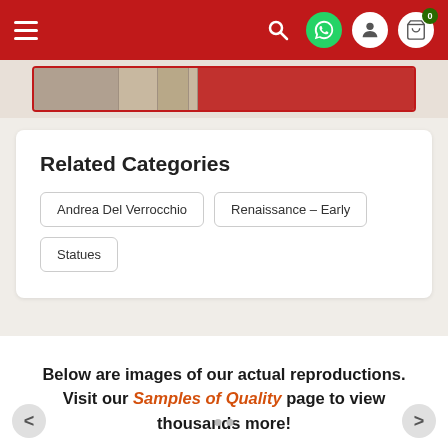Navigation bar with hamburger menu, search, WhatsApp, user, and cart icons
[Figure (screenshot): Partial image strip showing a product page banner with red border]
Related Categories
Andrea Del Verrocchio
Renaissance – Early
Statues
Below are images of our actual reproductions. Visit our Samples of Quality page to view thousands more!